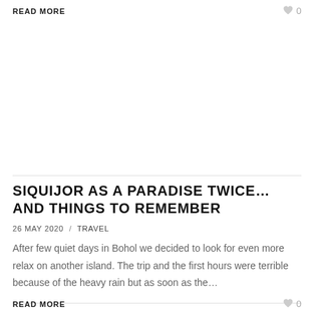READ MORE
SIQUIJOR AS A PARADISE TWICE…AND THINGS TO REMEMBER
26 MAY 2020  /  TRAVEL
After few quiet days in Bohol we decided to look for even more relax on another island. The trip and the first hours were terrible because of the heavy rain but as soon as the…
READ MORE